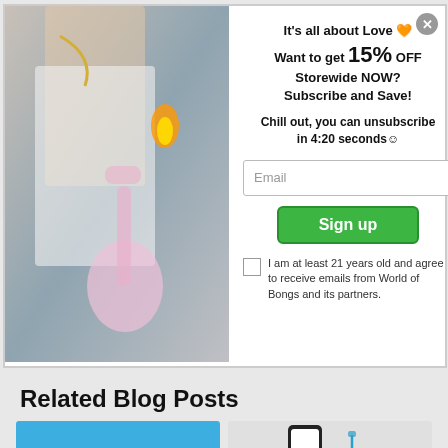[Figure (photo): Person in white tank top holding a pink heart-shaped glass bong, using a lighter]
It's all about Love 🧡
Want to get 15% OFF Storewide NOW?
Subscribe and Save!
Chill out, you can unsubscribe in 4:20 seconds☺
Email
Sign up
I am at least 21 years old and agree to receive emails from World of Bongs and its partners.
Related Blog Posts
[Figure (photo): Blue card with BEST text]
[Figure (photo): White card with phone icon and World of Bongs logo]